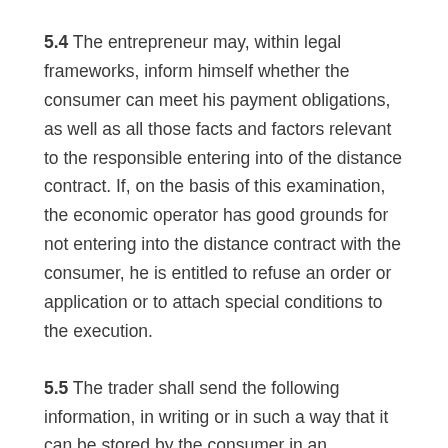5.4 The entrepreneur may, within legal frameworks, inform himself whether the consumer can meet his payment obligations, as well as all those facts and factors relevant to the responsible entering into of the distance contract. If, on the basis of this examination, the economic operator has good grounds for not entering into the distance contract with the consumer, he is entitled to refuse an order or application or to attach special conditions to the execution.
5.5 The trader shall send the following information, in writing or in such a way that it can be stored by the consumer in an accessible manner, at the latest when the product is delivered to the...